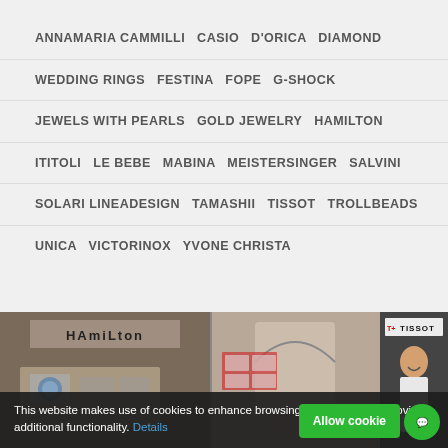ANNAMARIA CAMMILLI   CASIO   D'ORICA   DIAMOND
WEDDING RINGS   FESTINA   FOPE   G-SHOCK
JEWELS WITH PEARLS   GOLD JEWELRY   HAMILTON
ITITOLI   LE BEBE   MABINA   MEISTERSINGER   SALVINI
SOLARI LINEADESIGN   TAMASHII   TISSOT   TROLLBEADS
UNICA   VICTORINOX   YVONE CHRISTA
[Figure (photo): Strip of three store/brand photos: Hamilton watch display, a jewelry store window, and a Tissot advertisement featuring a smiling man]
This website makes use of cookies to enhance browsing experience and provide additional functionality. Details   Allow cookies